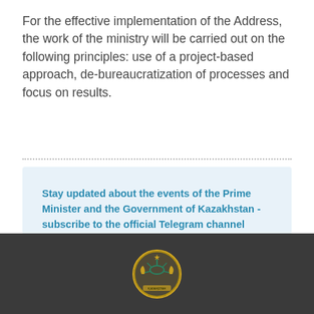For the effective implementation of the Address, the work of the ministry will be carried out on the following principles: use of a project-based approach, de-bureaucratization of processes and focus on results.
Stay updated about the events of the Prime Minister and the Government of Kazakhstan - subscribe to the official Telegram channel
[Figure (infographic): Subscribe button with paper plane icon on blue background]
[Figure (logo): Kazakhstan government emblem (coat of arms) on dark grey footer bar]